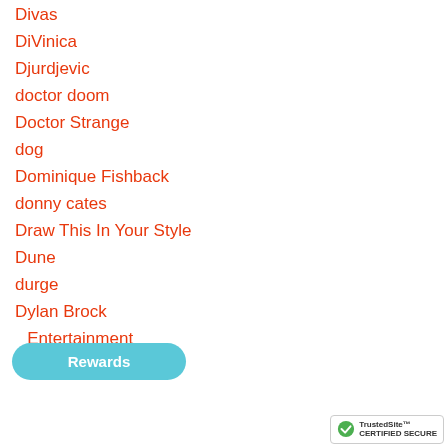Divas
DiVinica
Djurdjevic
doctor doom
Doctor Strange
dog
Dominique Fishback
donny cates
Draw This In Your Style
Dune
durge
Dylan Brock
E Entertainment
Echo